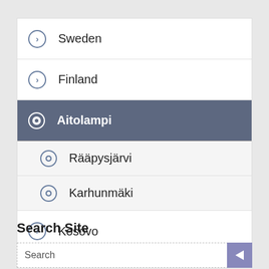Sweden
Finland
Aitolampi
Rääpysjärvi
Karhunmäki
Kosovo
Search Site
Search